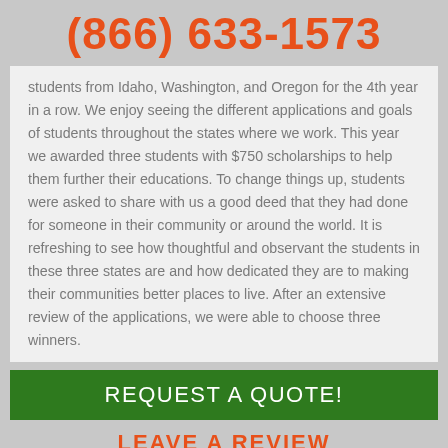(866) 633-1573
students from Idaho, Washington, and Oregon for the 4th year in a row. We enjoy seeing the different applications and goals of students throughout the states where we work. This year we awarded three students with $750 scholarships to help them further their educations. To change things up, students were asked to share with us a good deed that they had done for someone in their community or around the world. It is refreshing to see how thoughtful and observant the students in these three states are and how dedicated they are to making their communities better places to live. After an extensive review of the applications, we were able to choose three winners.
REQUEST A QUOTE!
LEAVE A REVIEW
[Figure (other): Five orange star rating icons]